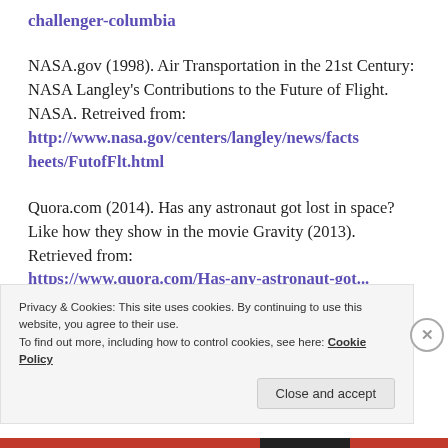challenger-columbia
NASA.gov (1998). Air Transportation in the 21st Century: NASA Langley's Contributions to the Future of Flight. NASA. Retreived from: http://www.nasa.gov/centers/langley/news/factsheets/FutofFlt.html
Quora.com (2014). Has any astronaut got lost in space? Like how they show in the movie Gravity (2013). Retrieved from: https://...
Privacy & Cookies: This site uses cookies. By continuing to use this website, you agree to their use.
To find out more, including how to control cookies, see here: Cookie Policy
Close and accept